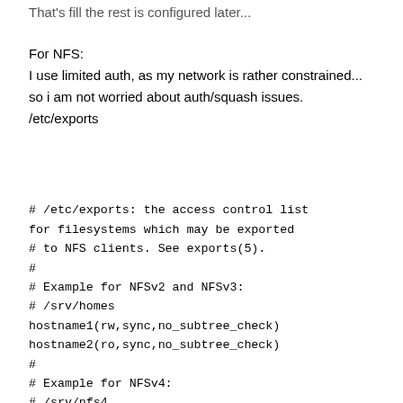That's fill the rest is configured later...
For NFS:
I use limited auth, as my network is rather constrained...
so i am not worried about auth/squash issues.
/etc/exports
# /etc/exports: the access control list
for filesystems which may be exported
# to NFS clients. See exports(5).
#
# Example for NFSv2 and NFSv3:
# /srv/homes
hostname1(rw,sync,no_subtree_check)
hostname2(ro,sync,no_subtree_check)
#
# Example for NFSv4:
# /srv/nfs4
gss/krb5i(rw,sync,fsid=0,crossmnt,no subtr